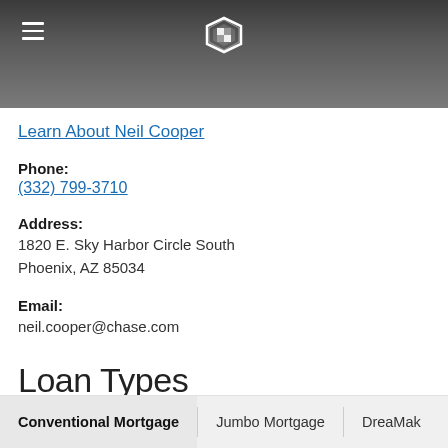[Figure (screenshot): Chase bank mobile app header with hamburger menu icon on the left and Chase logo (stylized octagon) in the center, dark blurred background image]
Learn About Neil Cooper
Phone:
(332) 799-3710
Address:
1820 E. Sky Harbor Circle South
Phoenix, AZ 85034
Email:
neil.cooper@chase.com
Loan Types
Conventional Mortgage	Jumbo Mortgage	DreaMak